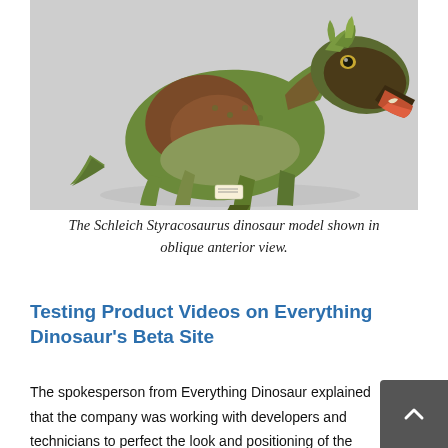[Figure (photo): Schleich Styracosaurus dinosaur model toy shown in oblique anterior view, against a light grey background. The model shows a green and brown dinosaur with an open mouth revealing pink inside.]
The Schleich Styracosaurus dinosaur model shown in oblique anterior view.
Testing Product Videos on Everything Dinosaur's Beta Site
The spokesperson from Everything Dinosaur explained that the company was working with developers and technicians to perfect the look and positioning of the